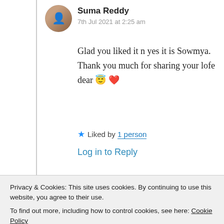Suma Reddy
7th Jul 2021 at 2:25 am
Glad you liked it n yes it is Sowmya. Thank you much for sharing your lofe dear 😇 ❤️
★ Liked by 1 person
Log in to Reply
say 📩 👓 🌹 .
Privacy & Cookies: This site uses cookies. By continuing to use this website, you agree to their use.
To find out more, including how to control cookies, see here: Cookie Policy
Close and accept